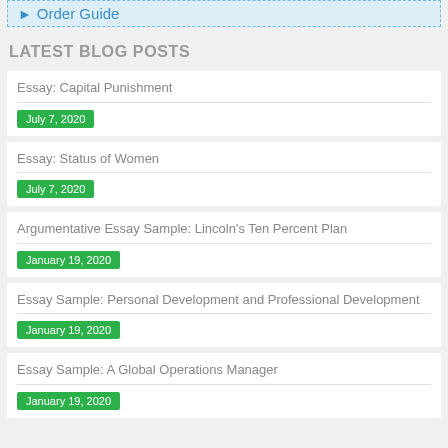Order Guide
LATEST BLOG POSTS
Essay: Capital Punishment
July 7, 2020
Essay: Status of Women
July 7, 2020
Argumentative Essay Sample: Lincoln's Ten Percent Plan
January 19, 2020
Essay Sample: Personal Development and Professional Development
January 19, 2020
Essay Sample: A Global Operations Manager
January 19, 2020